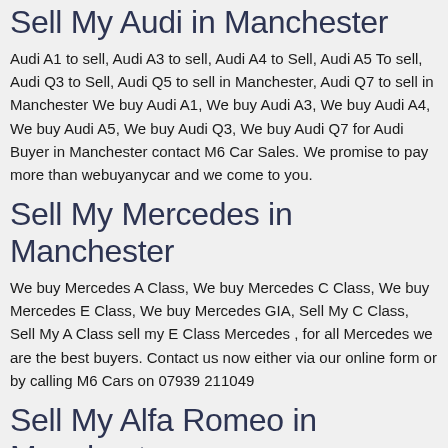Sell My Audi in Manchester
Audi A1 to sell, Audi A3 to sell, Audi A4 to Sell, Audi A5 To sell, Audi Q3 to Sell, Audi Q5 to sell in Manchester, Audi Q7 to sell in Manchester We buy Audi A1, We buy Audi A3, We buy Audi A4, We buy Audi A5, We buy Audi Q3, We buy Audi Q7 for Audi Buyer in Manchester contact M6 Car Sales. We promise to pay more than webuyanycar and we come to you.
Sell My Mercedes in Manchester
We buy Mercedes A Class, We buy Mercedes C Class, We buy Mercedes E Class, We buy Mercedes GIA, Sell My C Class, Sell My A Class sell my E Class Mercedes , for all Mercedes we are the best buyers. Contact us now either via our online form or by calling M6 Cars on 07939 211049
Sell My Alfa Romeo in Manchester